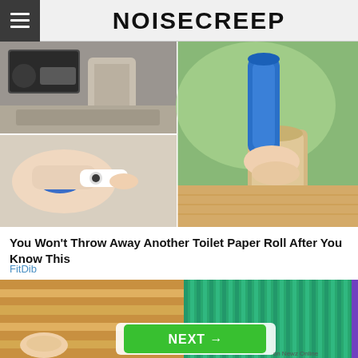NOISECREEP
[Figure (photo): Collage of four images: car interior center console, person massaging foot with blue device, hand holding blue cylindrical device, toilet paper roll on wooden surface]
You Won't Throw Away Another Toilet Paper Roll After You Know This
FitDib
[Figure (photo): Close-up of a teal/green ribbed lid next to a wooden surface, with a finger pressing]
NEXT →
on Newz Online